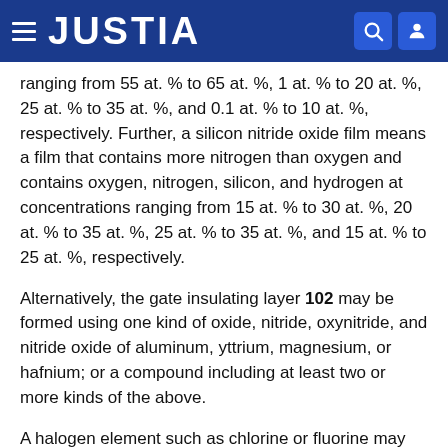JUSTIA
ranging from 55 at. % to 65 at. %, 1 at. % to 20 at. %, 25 at. % to 35 at. %, and 0.1 at. % to 10 at. %, respectively. Further, a silicon nitride oxide film means a film that contains more nitrogen than oxygen and contains oxygen, nitrogen, silicon, and hydrogen at concentrations ranging from 15 at. % to 30 at. %, 20 at. % to 35 at. %, 25 at. % to 35 at. %, and 15 at. % to 25 at. %, respectively.
Alternatively, the gate insulating layer 102 may be formed using one kind of oxide, nitride, oxynitride, and nitride oxide of aluminum, yttrium, magnesium, or hafnium; or a compound including at least two or more kinds of the above.
A halogen element such as chlorine or fluorine may be contained in the gate insulating layer 102. The concentration of the halogen element in the gate